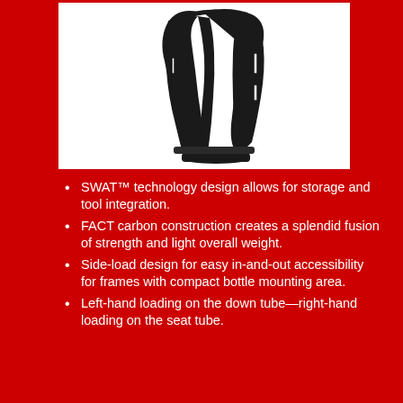[Figure (photo): Black bicycle water bottle cage with SWAT technology, carbon fiber construction, side-load design, shown on white background]
SWAT™ technology design allows for storage and tool integration.
FACT carbon construction creates a splendid fusion of strength and light overall weight.
Side-load design for easy in-and-out accessibility for frames with compact bottle mounting area.
Left-hand loading on the down tube—right-hand loading on the seat tube.